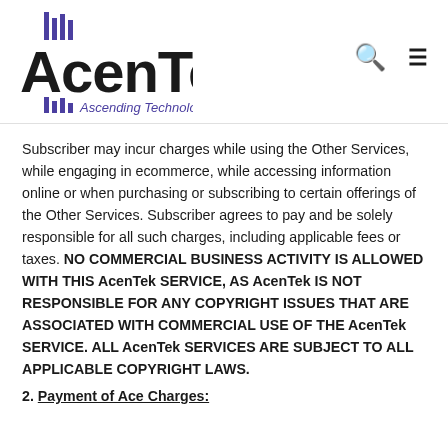AcenTek — Ascending Technology
Subscriber may incur charges while using the Other Services, while engaging in ecommerce, while accessing information online or when purchasing or subscribing to certain offerings of the Other Services. Subscriber agrees to pay and be solely responsible for all such charges, including applicable fees or taxes. NO COMMERCIAL BUSINESS ACTIVITY IS ALLOWED WITH THIS AcenTek SERVICE, AS AcenTek IS NOT RESPONSIBLE FOR ANY COPYRIGHT ISSUES THAT ARE ASSOCIATED WITH COMMERCIAL USE OF THE AcenTek SERVICE. ALL AcenTek SERVICES ARE SUBJECT TO ALL APPLICABLE COPYRIGHT LAWS.
2. Payment of Ace Charges: